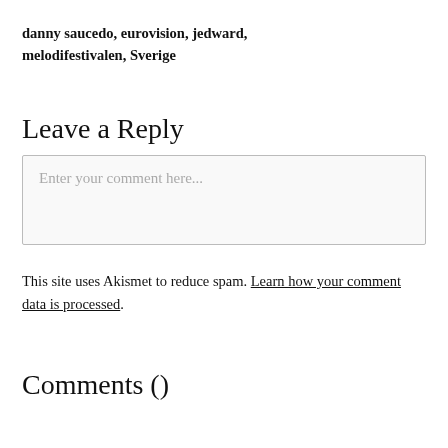danny saucedo, eurovision, jedward, melodifestivalen, Sverige
Leave a Reply
Enter your comment here...
This site uses Akismet to reduce spam. Learn how your comment data is processed.
Comments ()